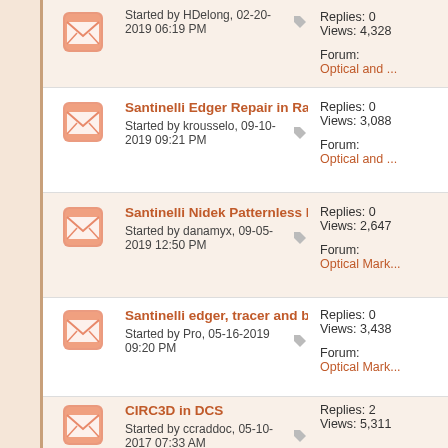Started by HDelong, 02-20-2019 06:19 PM | Replies: 0 | Views: 4,328 | Forum: Optical and ...
Santinelli Edger Repair in Raleigh NC area | Started by krousselo, 09-10-2019 09:21 PM | Replies: 0 | Views: 3,088 | Forum: Optical and ...
Santinelli Nidek Patternless LE 9000 EX for Sale | Started by danamyx, 09-05-2019 12:50 PM | Replies: 0 | Views: 2,647 | Forum: Optical Mark...
Santinelli edger, tracer and blocker combo for sale | Started by Pro, 05-16-2019 09:20 PM | Replies: 0 | Views: 3,438 | Forum: Optical Mark...
CIRC3D in DCS | Started by ccraddoc, 05-10-2017 07:33 AM | Replies: 2 | Views: 5,311 | Forum: General Opt...